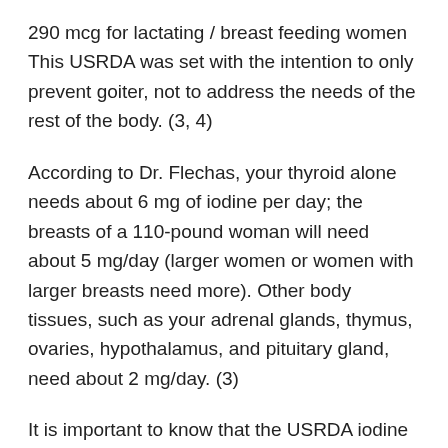290 mcg for lactating / breast feeding women This USRDA was set with the intention to only prevent goiter, not to address the needs of the rest of the body. (3, 4)
According to Dr. Flechas, your thyroid alone needs about 6 mg of iodine per day; the breasts of a 110-pound woman will need about 5 mg/day (larger women or women with larger breasts need more). Other body tissues, such as your adrenal glands, thymus, ovaries, hypothalamus, and pituitary gland, need about 2 mg/day. (3)
It is important to know that the USRDA iodine levels are in micrograms (mcg), and Dr. Flechas's